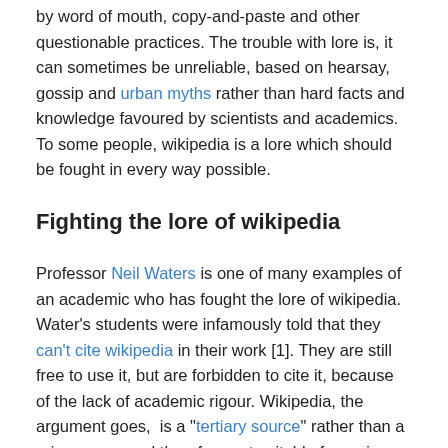by word of mouth, copy-and-paste and other questionable practices. The trouble with lore is, it can sometimes be unreliable, based on hearsay, gossip and urban myths rather than hard facts and knowledge favoured by scientists and academics. To some people, wikipedia is a lore which should be fought in every way possible.
Fighting the lore of wikipedia
Professor Neil Waters is one of many examples of an academic who has fought the lore of wikipedia. Water's students were infamously told that they can't cite wikipedia in their work [1]. They are still free to use it, but are forbidden to cite it, because of the lack of academic rigour. Wikipedia, the argument goes, is a "tertiary source" rather than a primary one and therefore not suitable for serious research.